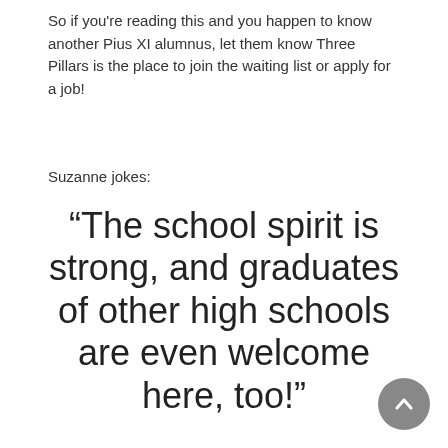So if you're reading this and you happen to know another Pius XI alumnus, let them know Three Pillars is the place to join the waiting list or apply for a job!
Suzanne jokes:
“The school spirit is strong, and graduates of other high schools are even welcome here, too!”